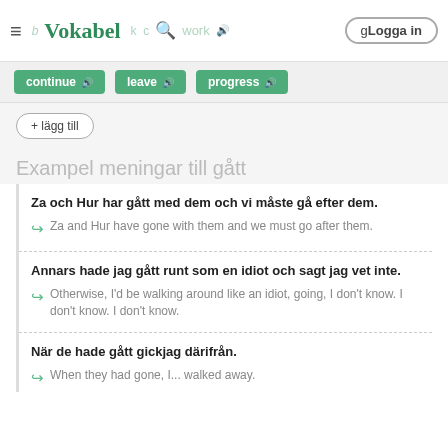Vokabel — continue, leave, progress — Logga in
continue | leave | progress
+ lägg till
Exampel meningar till gått
Za och Hur har gått med dem och vi måste gå efter dem.
Za and Hur have gone with them and we must go after them.
Annars hade jag gått runt som en idiot och sagt jag vet inte.
Otherwise, I'd be walking around like an idiot, going, I don't know. I don't know. I don't know.
När de hade gått gickjag därifrån.
When they had gone, I... walked away.